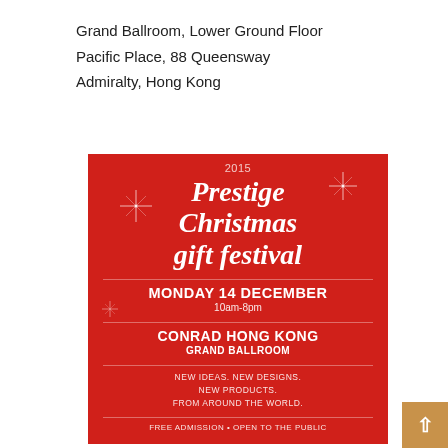Grand Ballroom, Lower Ground Floor
Pacific Place, 88 Queensway
Admiralty, Hong Kong
[Figure (illustration): Red promotional poster for 2015 Prestige Christmas gift festival at Conrad Hong Kong Grand Ballroom, Monday 14 December, 10am-8pm. White serif italic title text on red background with sparkle star decorations. Details: New Ideas. New Designs. New Products. From Around the World. Free Admission. Open to the Public.]